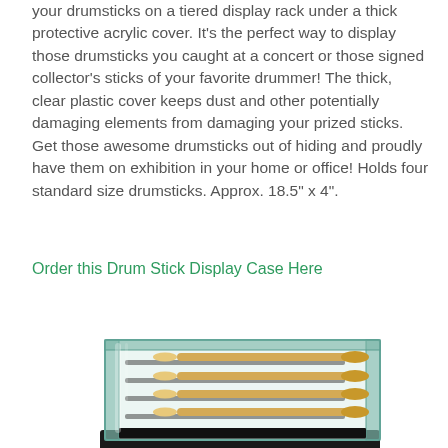your drumsticks on a tiered display rack under a thick protective acrylic cover. It's the perfect way to display those drumsticks you caught at a concert or those signed collector's sticks of your favorite drummer! The thick, clear plastic cover keeps dust and other potentially damaging elements from damaging your prized sticks. Get those awesome drumsticks out of hiding and proudly have them on exhibition in your home or office! Holds four standard size drumsticks. Approx. 18.5" x 4".
Order this Drum Stick Display Case Here
[Figure (photo): A clear acrylic/glass drumstick display case holding four wooden drumsticks arranged on tiered levels, with a dark base.]